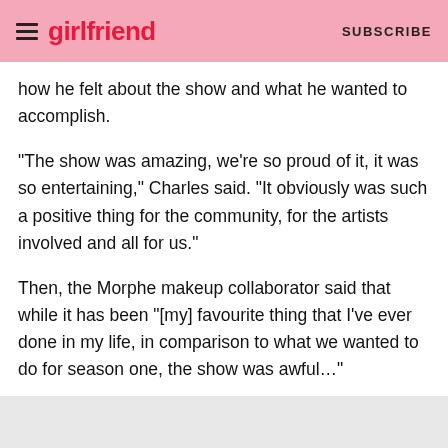girlfriend | SUBSCRIBE
how he felt about the show and what he wanted to accomplish.
“The show was amazing, we’re so proud of it, it was so entertaining,” Charles said. “It obviously was such a positive thing for the community, for the artists involved and all for us.”
Then, the Morphe makeup collaborator said that while it has been “[my] favourite thing that I’ve ever done in my life, in comparison to what we wanted to do for season one, the show was awful…”